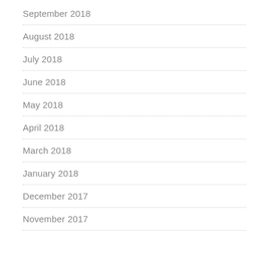September 2018
August 2018
July 2018
June 2018
May 2018
April 2018
March 2018
January 2018
December 2017
November 2017